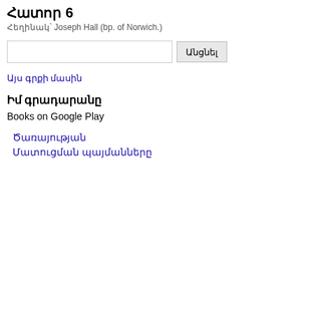Հատոր 6
Հեղինակ՝ Joseph Hall (bp. of Norwich.)
Այս գրքի մասին
Իմ գրադարանը
Books on Google Play
Ծառայության Մատուցման պայմանները
desires of them, that fear him ; if thy heart can yearn after heave thee home, at the last, to that lan inchoate fruition of happiness; w

That, which is complete, may be Wherein doth the perfection of h clear vision of the Divine Essenc glory? Now, as grace is glory be wrought to it by the power of the these acts and privileges of beati that presence can never be other in it, but in thine own miserable with this fesh, art no fit subject d

Yea, that blessed presence is eve and pleasure, that thou wouldst m delights but mere vexations to th in comparison of thee? Psalm lx shall behold him, but not nigh; N

I live in thee; and would rather d and really: I see thee, as my God gracious Comforter: I see thee th inaccessible; animating, filling, c

Neither do I look at thee, with a